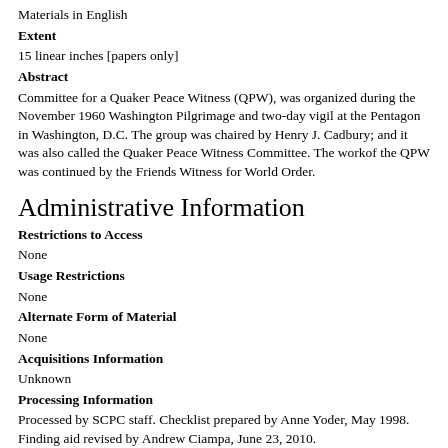Materials in English
Extent
15 linear inches [papers only]
Abstract
Committee for a Quaker Peace Witness (QPW), was organized during the November 1960 Washington Pilgrimage and two-day vigil at the Pentagon in Washington, D.C. The group was chaired by Henry J. Cadbury; and it was also called the Quaker Peace Witness Committee. The workof the QPW was continued by the Friends Witness for World Order.
Administrative Information
Restrictions to Access
None
Usage Restrictions
None
Alternate Form of Material
None
Acquisitions Information
Unknown
Processing Information
Processed by SCPC staff. Checklist prepared by Anne Yoder, May 1998. Finding aid revised by Andrew Ciampa, June 23, 2010.
Preferred Citation
[Identification of item], in the Committee for a Quaker Peace...